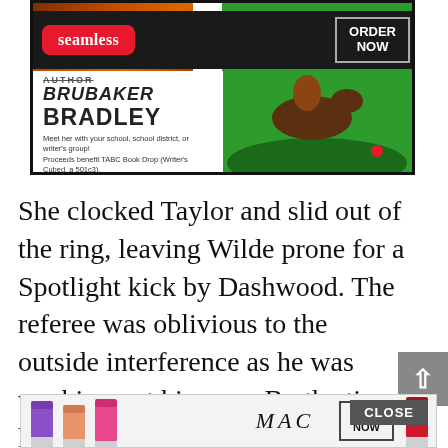[Figure (screenshot): Author promotional banner with Seamless food delivery ad overlay. Banner shows 'AUTHOR BRUBAKER BRADLEY' with text: 'Meet her with your school, school district, or writer's group! Proceeds benefit TABC Book Drop (Writer's Cubed, a 501c3).' Seamless ad overlay with red pill-shaped logo and 'ORDER NOW' button on dark background.]
She clocked Taylor and slid out of the ring, leaving Wilde prone for a Spotlight kick by Dashwood. The referee was oblivious to the outside interference as he was washing out his eyes. By the time he turned around, he only saw Wilde down and counted the pin. After t... m... y
[Figure (screenshot): Bottom advertisement for MAC cosmetics showing lipsticks and 'SHOP NOW' button with MAC logo in italic script.]